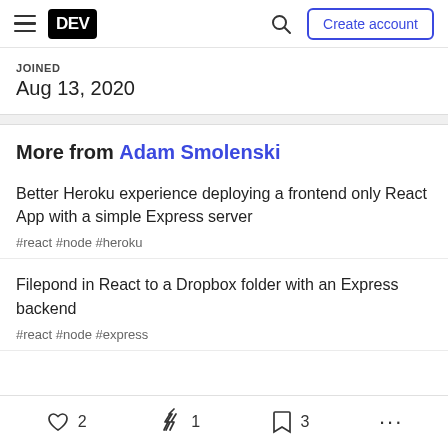DEV | Create account
JOINED
Aug 13, 2020
More from Adam Smolenski
Better Heroku experience deploying a frontend only React App with a simple Express server
#react #node #heroku
Filepond in React to a Dropbox folder with an Express backend
#react #node #express
2  1  3  ...